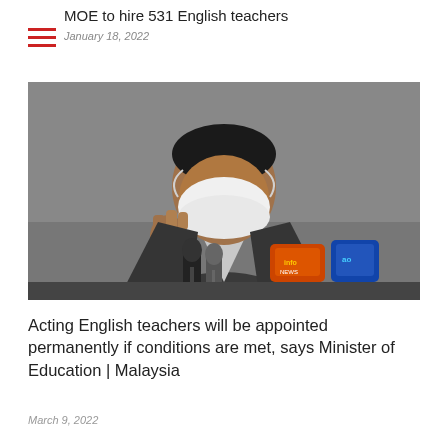MOE to hire 531 English teachers
January 18, 2022
[Figure (photo): A man wearing a white face mask and dark suit speaking at a press conference, with multiple microphones from various news outlets in front of him.]
Acting English teachers will be appointed permanently if conditions are met, says Minister of Education | Malaysia
March 9, 2022